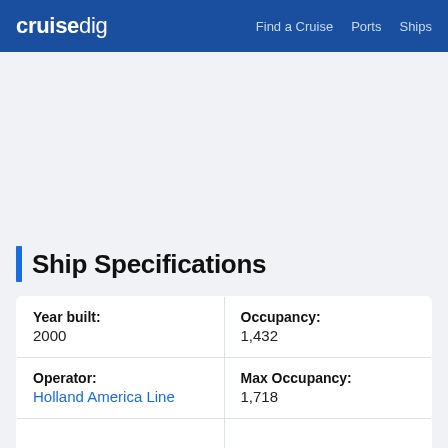cruisedig | Find a Cruise  Ports  Ships
Ship Specifications
| Year built: | 2000 | Occupancy: | 1,432 |
| Operator: | Holland America Line | Max Occupancy: | 1,718 |